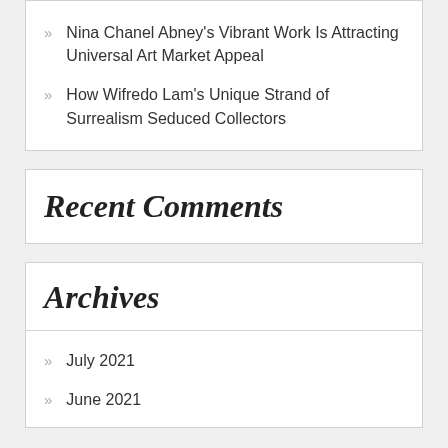Nina Chanel Abney's Vibrant Work Is Attracting Universal Art Market Appeal
How Wifredo Lam's Unique Strand of Surrealism Seduced Collectors
Recent Comments
Archives
July 2021
June 2021